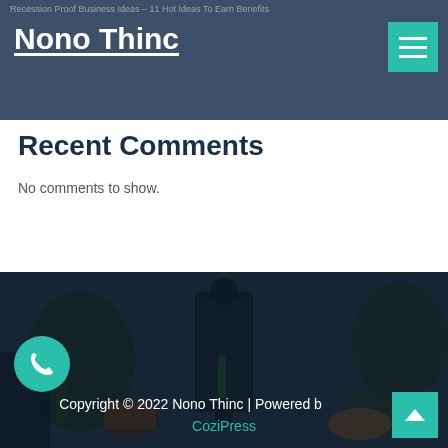Recession Proof Business Ideas – 11 Hot Ideas To Earn Benefits
Nono Thinc
Recent Comments
No comments to show.
[Figure (photo): Dark photo of potted plants, succulents, and a decorative lantern on a desk, with dark overlay]
Copyright © 2022 Nono Thinc | Powered by CoziPress